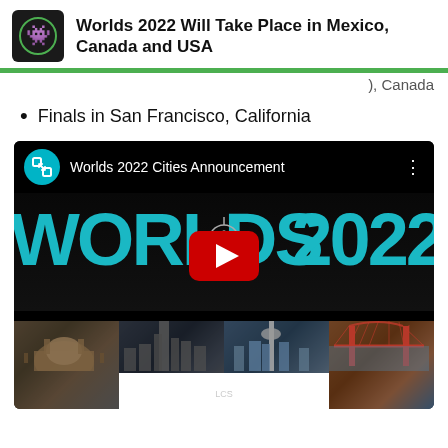Worlds 2022 Will Take Place in Mexico, Canada and USA
), Canada
Finals in San Francisco, California
[Figure (screenshot): YouTube video thumbnail for 'Worlds 2022 Cities Announcement' showing the Worlds 2022 banner in teal on black, with city photos of Mexico City, New York, Toronto, and San Francisco at the bottom, and a YouTube play button overlay.]